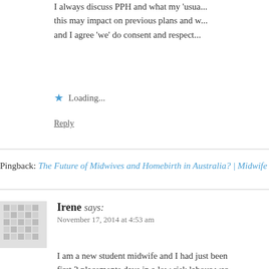I always discuss PPH and what my 'usual' this may impact on previous plans and w and I agree 'we' do consent and respect
★ Loading...
Reply
Pingback: The Future of Midwives and Homebirth in Australia? | Midwife
Irene says:
November 17, 2014 at 4:53 am
I am a new student midwife and I had just been first 2 placements days in a low risk labour war was going on. What I saw were midwifes makin choices. But the funny thing is that these wome things that many people are forced to, such as inductions, epidurals, giving birth on their back